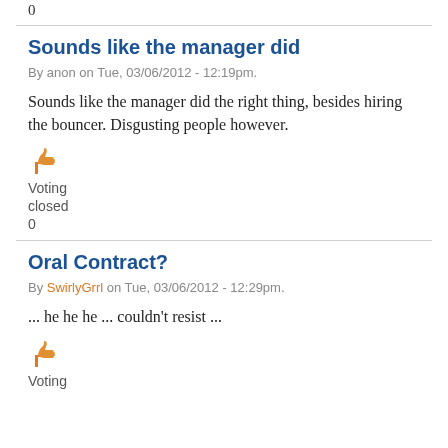0
Sounds like the manager did
By anon on Tue, 03/06/2012 - 12:19pm.
Sounds like the manager did the right thing, besides hiring the bouncer. Disgusting people however.
[Figure (illustration): Thumbs up icon in orange]
Voting
closed
0
Oral Contract?
By SwirlyGrrl on Tue, 03/06/2012 - 12:29pm.
... he he he ... couldn't resist ...
[Figure (illustration): Thumbs up icon in orange]
Voting